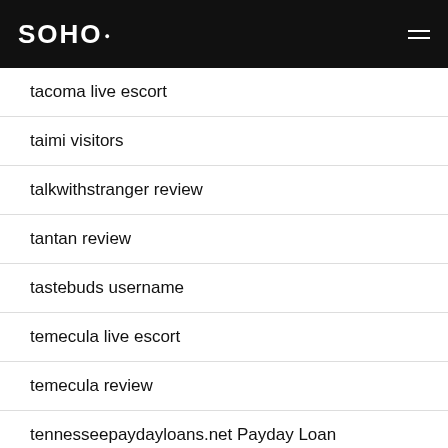SOHO
tacoma live escort
taimi visitors
talkwithstranger review
tantan review
tastebuds username
temecula live escort
temecula review
tennesseepaydayloans.net Payday Loan